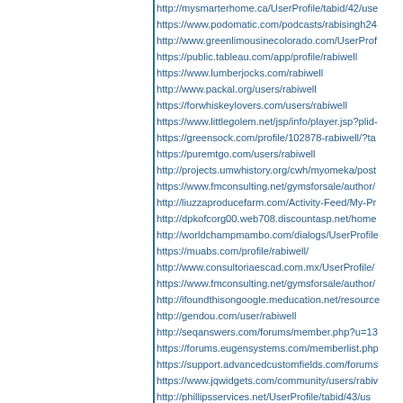http://mysmarterhome.ca/UserProfile/tabid/42/use
https://www.podomatic.com/podcasts/rabisingh24
http://www.greenlimousinecolorado.com/UserProf
https://public.tableau.com/app/profile/rabiwell
https://www.lumberjocks.com/rabiwell
http://www.packal.org/users/rabiwell
https://forwhiskeylovers.com/users/rabiwell
https://www.littlegolem.net/jsp/info/player.jsp?plid-
https://greensock.com/profile/102878-rabiwell/?ta
https://puremtgo.com/users/rabiwell
http://projects.umwhistory.org/cwh/myomeka/post
https://www.fmconsulting.net/gymsforsale/author/
http://liuzzaproducefarm.com/Activity-Feed/My-Pr
http://dpkofcorg00.web708.discountasp.net/home
http://worldchampmambo.com/dialogs/UserProfile
https://muabs.com/profile/rabiwell/
http://www.consultoriaescad.com.mx/UserProfile/
https://www.fmconsulting.net/gymsforsale/author/
http://ifoundthisongoogle.meducation.net/resource
http://gendou.com/user/rabiwell
http://seqanswers.com/forums/member.php?u=13
https://forums.eugensystems.com/memberlist.php
https://support.advancedcustomfields.com/forums
https://www.jqwidgets.com/community/users/rabiv
http://phillipsservices.net/UserProfile/tabid/43/us